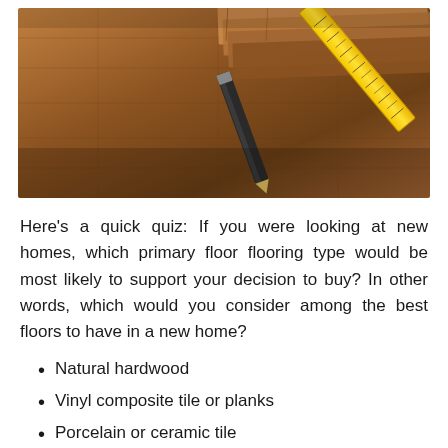[Figure (photo): Photo of wood flooring planks with a yellow tape measure and a pencil/tool resting on top of a hardwood floor surface.]
Here's a quick quiz: If you were looking at new homes, which primary floor flooring type would be most likely to support your decision to buy? In other words, which would you consider among the best floors to have in a new home?
Natural hardwood
Vinyl composite tile or planks
Porcelain or ceramic tile